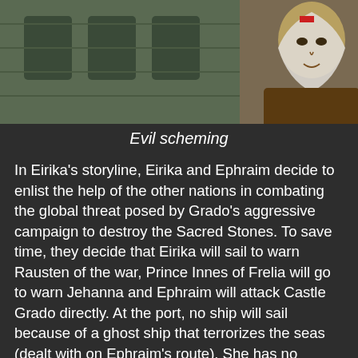[Figure (screenshot): Pixel art game scene showing a character with a white scarf/hood and greenish skin on the right, and a stone building or castle in the background on the left.]
Evil scheming
In Eirika's storyline, Eirika and Ephraim decide to enlist the help of the other nations in combating the global threat posed by Grado's aggressive campaign to destroy the Sacred Stones. To save time, they decide that Eirika will sail to warn Rausten of the war, Prince Innes of Frelia will go to warn Jehanna and Ephraim will attack Castle Grado directly. At the port, no ship will sail because of a ghost ship that terrorizes the seas (dealt with on Ephraim's route). She has no choice but to take the overland route to Rausten, which goes through the Republic of Carcino, the only country in Magvel with no ties to a sacred stone. Eirika finds Prince Innes under attack by Carcino armies lead by Councilman Pablo, who has allied with Grado. After triumphing against the mercenary army, they discove